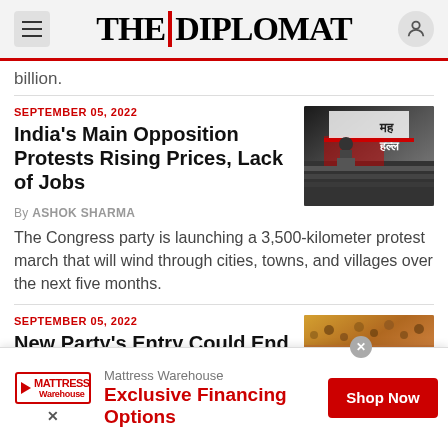THE DIPLOMAT
billion.
SEPTEMBER 05, 2022
India's Main Opposition Protests Rising Prices, Lack of Jobs
[Figure (photo): Photo of a political rally with a speaker at a podium, crowd in background, red and white banner with Hindi text]
By ASHOK SHARMA
The Congress party is launching a 3,500-kilometer protest march that will wind through cities, towns, and villages over the next five months.
SEPTEMBER 05, 2022
New Party's Entry Could End
[Figure (photo): Photo of a large outdoor crowd gathering]
Mattress Warehouse Exclusive Financing Options Shop Now